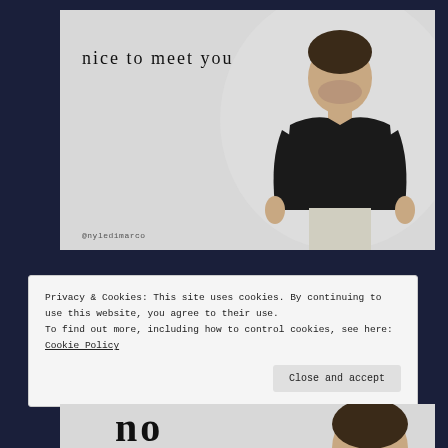[Figure (photo): Photo of a man in a black t-shirt standing against a light grey background with text 'nice to meet you' on the left side and '@nyledimarco' watermark at the bottom left]
Privacy & Cookies: This site uses cookies. By continuing to use this website, you agree to their use.
To find out more, including how to control cookies, see here: Cookie Policy
[Close and accept button]
[Figure (photo): Partial bottom of another photo showing large text 'no' and a partial face of a man]